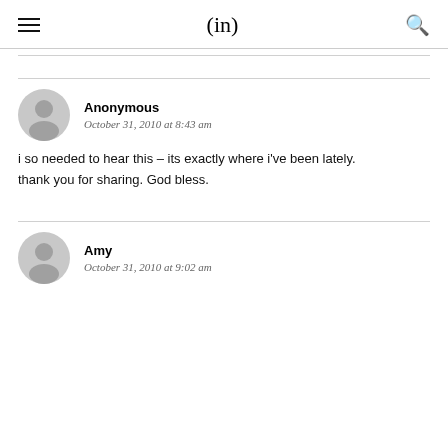(in)
Anonymous
October 31, 2010 at 8:43 am
i so needed to hear this – its exactly where i've been lately. thank you for sharing. God bless.
Amy
October 31, 2010 at 9:02 am